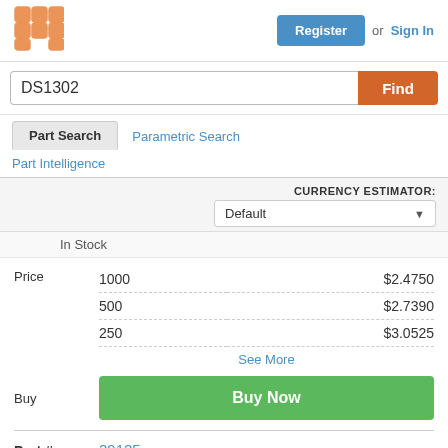[Figure (logo): Orange grid/matrix logo icon]
Register or Sign In
DS1302
Find
Part Search
Parametric Search
Part Intelligence
CURRENCY ESTIMATOR: Default
In Stock
| Qty | Price |
| --- | --- |
| 1000 | $2.4750 |
| 500 | $2.7390 |
| 250 | $3.0525 |
See More
Buy Now
Part # 29125
DISTI # 29125-ND